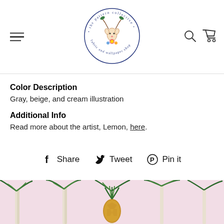[Figure (logo): The Pattern Collective fabric and wallpaper shop circular logo with illustrated deer and floral motif]
Color Description
Gray, beige, and cream illustration
Additional Info
Read more about the artist, Lemon, here.
Share  Tweet  Pin it
[Figure (photo): Tropical palm tree and pineapple wallpaper pattern on pink background with a golden pineapple ornament]